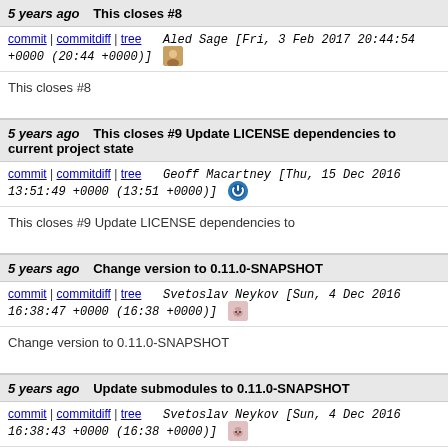5 years ago   This closes #8
commit | commitdiff | tree   Aled Sage [Fri, 3 Feb 2017 20:44:54 +0000 (20:44 +0000)]
This closes #8
5 years ago   This closes #9 Update LICENSE dependencies to current project state
commit | commitdiff | tree   Geoff Macartney [Thu, 15 Dec 2016 13:51:49 +0000 (13:51 +0000)]
This closes #9 Update LICENSE dependencies to
5 years ago   Change version to 0.11.0-SNAPSHOT
commit | commitdiff | tree   Svetoslav Neykov [Sun, 4 Dec 2016 16:38:47 +0000 (16:38 +0000)]
Change version to 0.11.0-SNAPSHOT
5 years ago   Update submodules to 0.11.0-SNAPSHOT
commit | commitdiff | tree   Svetoslav Neykov [Sun, 4 Dec 2016 16:38:43 +0000 (16:38 +0000)]
Update submodules to 0.11.0-SNAPSHOT